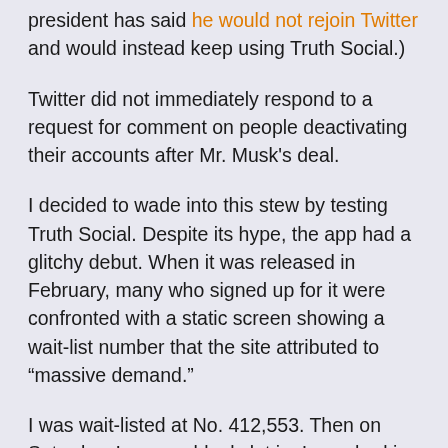president has said he would not rejoin Twitter and would instead keep using Truth Social.)
Twitter did not immediately respond to a request for comment on people deactivating their accounts after Mr. Musk's deal.
I decided to wade into this stew by testing Truth Social. Despite its hype, the app had a glitchy debut. When it was released in February, many who signed up for it were confronted with a static screen showing a wait-list number that the site attributed to “massive demand.”
I was wait-listed at No. 412,553. Then on Saturday, I was suddenly let in. I punched in my phone number to go through the sign-up process and jumped in with interest.
Assessing a social media app — especially one this young —